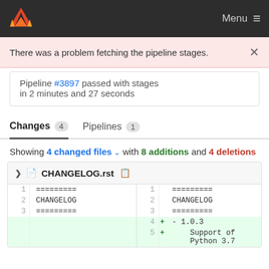Menu
There was a problem fetching the pipeline stages.
Pipeline #3897 passed with stages in 2 minutes and 27 seconds
Changes 4   Pipelines 1
Showing 4 changed files with 8 additions and 4 deletions
CHANGELOG.rst
| old line | old code | new line | + | new code |
| --- | --- | --- | --- | --- |
| 1 | ========= | 1 |  | ========= |
| 2 | CHANGELOG | 2 |  | CHANGELOG |
| 3 | ========= | 3 |  | ========= |
|  |  | 4 | + | - 1.0.3 |
|  |  | 5 | + |     Support of |
|  |  |  |  | Python 3.7 |